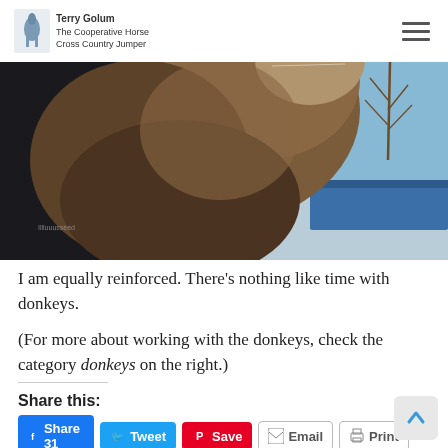Terry Golum - The Cooperative Horse - Cross Country Jumper
[Figure (photo): Close-up photo of a donkey's muzzle and face from a low angle, with a person in a dark jacket visible on the left and blue sky and bare trees in the background]
I am equally reinforced. There’s nothing like time with donkeys.
(For more about working with the donkeys, check the category donkeys on the right.)
Share this:
Share 31  Tweet  Save  Email  Print